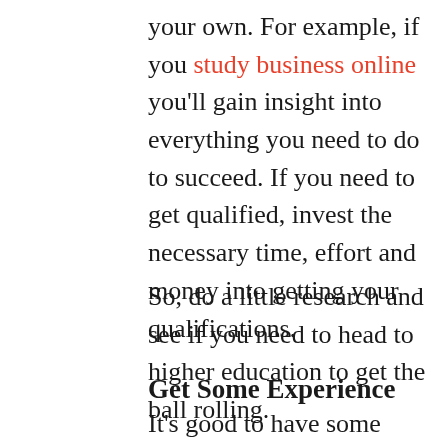your own. For example, if you study business online you'll gain insight into everything you need to do to succeed. If you need to get qualified, invest the necessary time, effort and money into getting your qualifications.
So, do a little research and see if you need to head to higher education to get the ball rolling.
Get Some Experience
It's good to have some sort of experience in a relevant field under